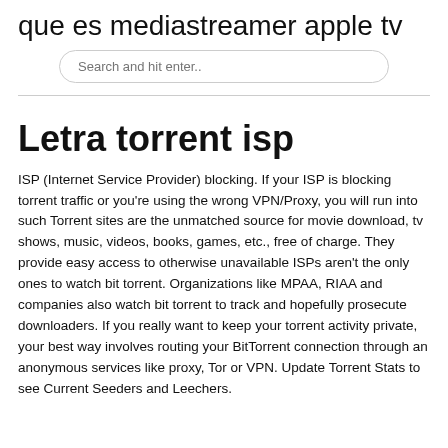que es mediastreamer apple tv
Search and hit enter..
Letra torrent isp
ISP (Internet Service Provider) blocking. If your ISP is blocking torrent traffic or you're using the wrong VPN/Proxy, you will run into such Torrent sites are the unmatched source for movie download, tv shows, music, videos, books, games, etc., free of charge. They provide easy access to otherwise unavailable ISPs aren't the only ones to watch bit torrent. Organizations like MPAA, RIAA and companies also watch bit torrent to track and hopefully prosecute downloaders. If you really want to keep your torrent activity private, your best way involves routing your BitTorrent connection through an anonymous services like proxy, Tor or VPN. Update Torrent Stats to see Current Seeders and Leechers.